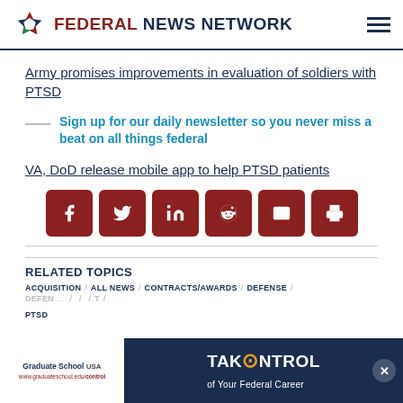FEDERAL NEWS NETWORK
Army promises improvements in evaluation of soldiers with PTSD
Sign up for our daily newsletter so you never miss a beat on all things federal
VA, DoD release mobile app to help PTSD patients
[Figure (infographic): Social sharing buttons: Facebook, Twitter, LinkedIn, Reddit, Email, Print — dark red square icons with white symbols]
RELATED TOPICS
ACQUISITION / ALL NEWS / CONTRACTS/AWARDS / DEFENSE /
DEFEN... / ... / ... / T /
PTSD
[Figure (infographic): Advertisement banner for Graduate School USA: TAKE CONTROL of Your Federal Career]